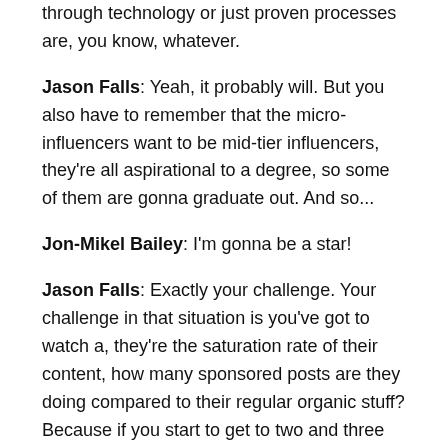through technology or just proven processes are, you know, whatever.
Jason Falls: Yeah, it probably will. But you also have to remember that the micro-influencers want to be mid-tier influencers, they're all aspirational to a degree, so some of them are gonna graduate out. And so...
Jon-Mikel Bailey: I'm gonna be a star!
Jason Falls: Exactly your challenge. Your challenge in that situation is you've got to watch a, they're the saturation rate of their content, how many sponsored posts are they doing compared to their regular organic stuff? Because if you start to get to two and three and four sponsored posts a week, on certain platforms, it's like, you're getting kind of advertising spammy?
Well, when you start to see that increase, you also start to see a corresponding decrease in engagement. So someone who has 1000 followers and a 10% engagement means that 100 people are going to interact with their content. But as they grow and as they